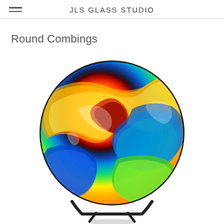JLS GLASS STUDIO
Round Combings
[Figure (photo): A colorful round glass art piece (combed glass plate) displayed on a metal stand, showing swirling patterns of orange, yellow, red, blue, green, and white colors in a circular form. The plate sits in a dark metal display stand.]